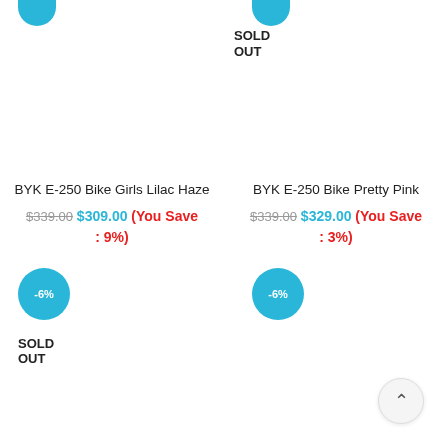SOLD OUT
BYK E-250 Bike Girls Lilac Haze
$339.00 $309.00 (You Save : 9%)
BYK E-250 Bike Pretty Pink
$339.00 $329.00 (You Save : 3%)
-6%
SOLD OUT
-6%